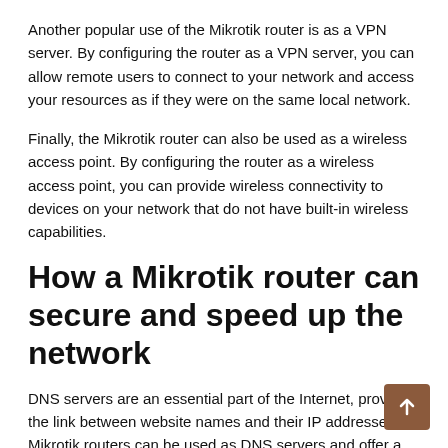Another popular use of the Mikrotik router is as a VPN server. By configuring the router as a VPN server, you can allow remote users to connect to your network and access your resources as if they were on the same local network.
Finally, the Mikrotik router can also be used as a wireless access point. By configuring the router as a wireless access point, you can provide wireless connectivity to devices on your network that do not have built-in wireless capabilities.
How a Mikrotik router can secure and speed up the network
DNS servers are an essential part of the Internet, providing the link between website names and their IP addresses. Mikrotik routers can be used as DNS servers and offer a number of features to make them more secure.